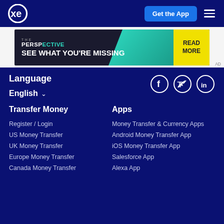XE — Get the App
[Figure (screenshot): Advertisement banner: THE PERSPECTIVE — SEE WHAT YOU'RE MISSING — READ MORE]
Language
English ∨
[Figure (infographic): Social media icons: Facebook, Twitter, LinkedIn]
Transfer Money
Register / Login
US Money Transfer
UK Money Transfer
Europe Money Transfer
Canada Money Transfer
Apps
Money Transfer & Currency Apps
Android Money Transfer App
iOS Money Transfer App
Salesforce App
Alexa App